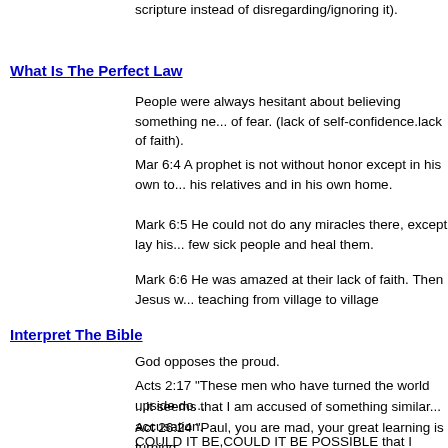scripture instead of disregarding/ignoring it).
What Is The Perfect Law
People were always hesitant about believing something ne... of fear. (lack of self-confidence.lack of faith).
Mar 6:4 A prophet is not without honor except in his own to... his relatives and in his own home.
Mark 6:5 He could not do any miracles there, except lay his... few sick people and heal them.
Mark 6:6 He was amazed at their lack of faith. Then Jesus w... teaching from village to village
Interpret The Bible
God opposes the proud.
Acts 2:17 "These men who have turned the world upside do...
...it seems that I am accused of something similar... accusation.
Act 26:24 "Paul, you are mad, your great learning is turning...
COULD IT BE,COULD IT BE POSSIBLE that I really am he... God wants me to be??...hmm?...